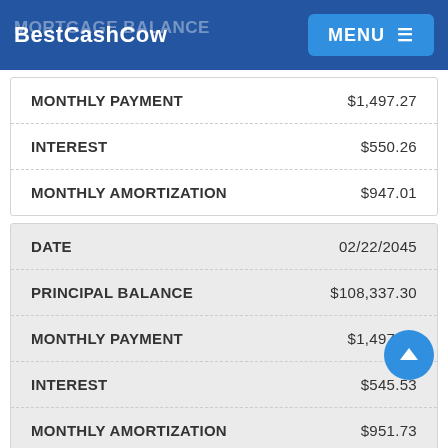BestCashCow — MORTGAGE BALANCE
| Field | Value |
| --- | --- |
| MONTHLY PAYMENT | $1,497.27 |
| INTEREST | $550.26 |
| MONTHLY AMORTIZATION | $947.01 |
| Field | Value |
| --- | --- |
| DATE | 02/22/2045 |
| PRINCIPAL BALANCE | $108,337.30 |
| MONTHLY PAYMENT | $1,497.27 |
| INTEREST | $545.53 |
| MONTHLY AMORTIZATION | $951.73 |
| Field | Value |
| --- | --- |
| DATE | 03/22/2045 |